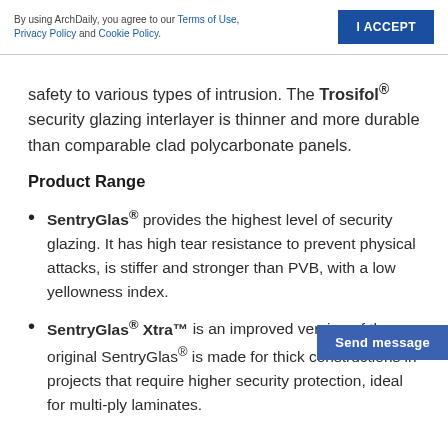By using ArchDaily, you agree to our Terms of Use, Privacy Policy and Cookie Policy. | I ACCEPT
safety to various types of intrusion. The Trosifol® security glazing interlayer is thinner and more durable than comparable clad polycarbonate panels.
Product Range
SentryGlas® provides the highest level of security glazing. It has high tear resistance to prevent physical attacks, is stiffer and stronger than PVB, with a low yellowness index.
SentryGlas® Xtra™ is an improved version of the original SentryGlas® is made for thick constructions in projects that require higher security protection, ideal for multi-ply laminates.